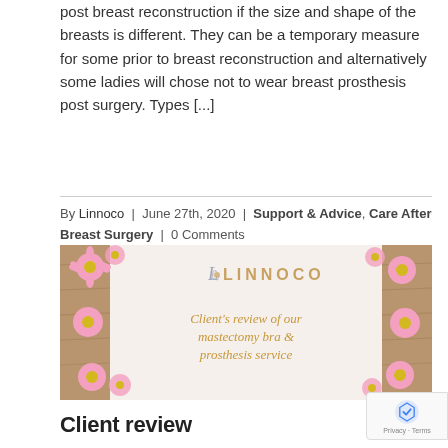post breast reconstruction if the size and shape of the breasts is different. They can be a temporary measure for some prior to breast reconstruction and alternatively some ladies will chose not to wear breast prosthesis post surgery. Types [...]
By Linnoco | June 27th, 2020 | Support & Advice, Care After Breast Surgery | 0 Comments
Read More >
[Figure (illustration): Linnoco banner image with pink daisies on wooden background, featuring the Linnoco logo and text: Client's review of our mastectomy bra & prosthesis service]
Client review